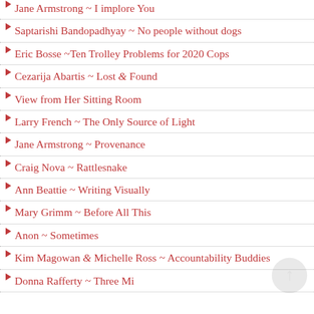Jane Armstrong ~ I implore You
Saptarishi Bandopadhyay ~ No people without dogs
Eric Bosse ~Ten Trolley Problems for 2020 Cops
Cezarija Abartis ~ Lost & Found
View from Her Sitting Room
Larry French ~ The Only Source of Light
Jane Armstrong ~ Provenance
Craig Nova ~ Rattlesnake
Ann Beattie ~ Writing Visually
Mary Grimm ~ Before All This
Anon ~ Sometimes
Kim Magowan & Michelle Ross ~ Accountability Buddies
Donna Rafferty ~ Three Mi...